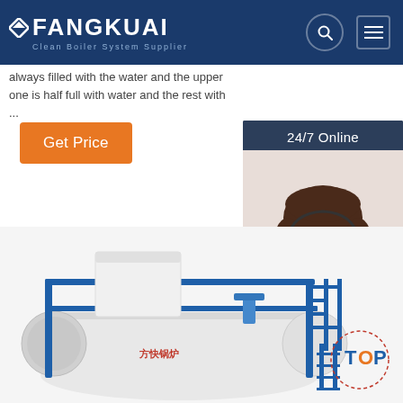FANGKUAI Clean Boiler System Supplier
always filled with the water and the upper one is half full with water and the rest with ...
Get Price
[Figure (photo): Customer service representative woman wearing headset with '24/7 Online' label and 'Click here for free chat!' and 'QUOTATION' button]
[Figure (photo): Industrial boiler system in blue and white with Fangkuai branding and TOP badge in bottom right corner]